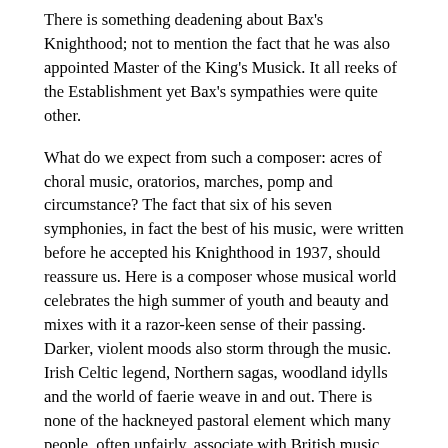There is something deadening about Bax's Knighthood; not to mention the fact that he was also appointed Master of the King's Musick. It all reeks of the Establishment yet Bax's sympathies were quite other.
What do we expect from such a composer: acres of choral music, oratorios, marches, pomp and circumstance? The fact that six of his seven symphonies, in fact the best of his music, were written before he accepted his Knighthood in 1937, should reassure us. Here is a composer whose musical world celebrates the high summer of youth and beauty and mixes with it a razor-keen sense of their passing. Darker, violent moods also storm through the music. Irish Celtic legend, Northern sagas, woodland idylls and the world of faerie weave in and out. There is none of the hackneyed pastoral element which many people, often unfairly, associate with British music.
Bax was essentially a non-conformist figure liberated from society's conventions by the accident of his birth into an affluent family. He did not have to work or teach to survive. After his teenage years he seems never to have had a conventional home, moving from hotel to hotel and finally living out his last years at the White Horse pub in Storrington in Sussex. He spent much time in